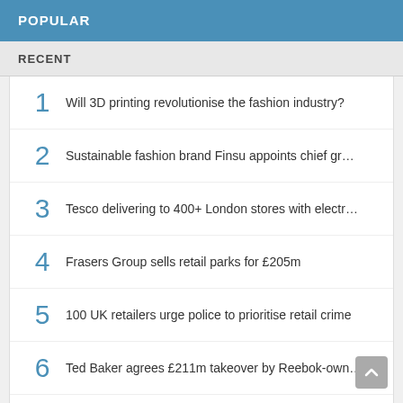POPULAR
RECENT
1  Will 3D printing revolutionise the fashion industry?
2  Sustainable fashion brand Finsu appoints chief gr…
3  Tesco delivering to 400+ London stores with electr…
4  Frasers Group sells retail parks for £205m
5  100 UK retailers urge police to prioritise retail crime
6  Ted Baker agrees £211m takeover by Reebok-own…
7  Klarna app rolls out purchase history and delivery